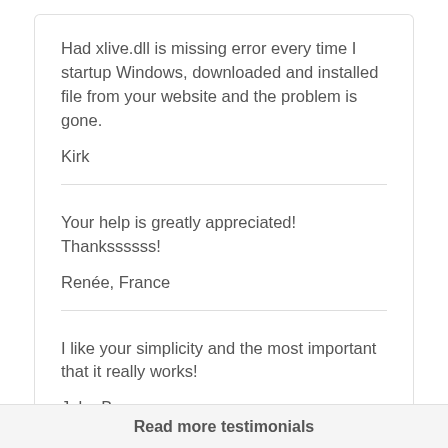Had xlive.dll is missing error every time I startup Windows, downloaded and installed file from your website and the problem is gone.
Kirk
Your help is greatly appreciated! Thankssssss!
Renée, France
I like your simplicity and the most important that it really works!
John Borges
Read more testimonials